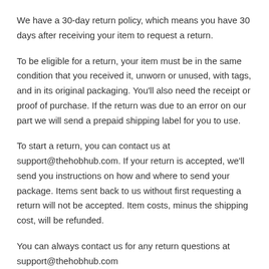We have a 30-day return policy, which means you have 30 days after receiving your item to request a return.
To be eligible for a return, your item must be in the same condition that you received it, unworn or unused, with tags, and in its original packaging. You'll also need the receipt or proof of purchase. If the return was due to an error on our part we will send a prepaid shipping label for you to use.
To start a return, you can contact us at support@thehobhub.com. If your return is accepted, we'll send you instructions on how and where to send your package. Items sent back to us without first requesting a return will not be accepted. Item costs, minus the shipping cost, will be refunded.
You can always contact us for any return questions at support@thehobhub.com